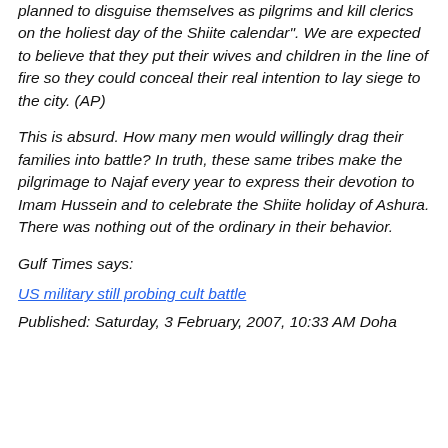planned to disguise themselves as pilgrims and kill clerics on the holiest day of the Shiite calendar". We are expected to believe that they put their wives and children in the line of fire so they could conceal their real intention to lay siege to the city. (AP)
This is absurd. How many men would willingly drag their families into battle? In truth, these same tribes make the pilgrimage to Najaf every year to express their devotion to Imam Hussein and to celebrate the Shiite holiday of Ashura. There was nothing out of the ordinary in their behavior.
Gulf Times says:
US military still probing cult battle
Published: Saturday, 3 February, 2007, 10:33 AM Doha